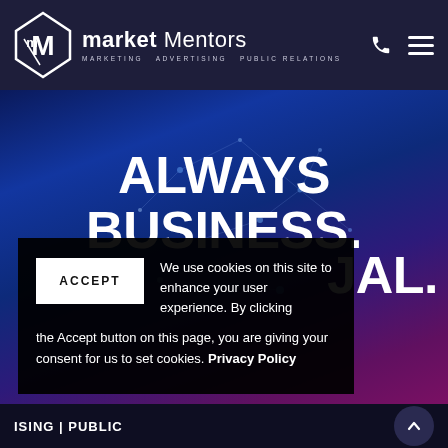market Mentors — MARKETING  ADVERTISING  PUBLIC RELATIONS
ALWAYS BUSINESS.
JUAL.
We use cookies on this site to enhance your user experience. By clicking the Accept button on this page, you are giving your consent for us to set cookies. Privacy Policy
ISING | PUBLIC